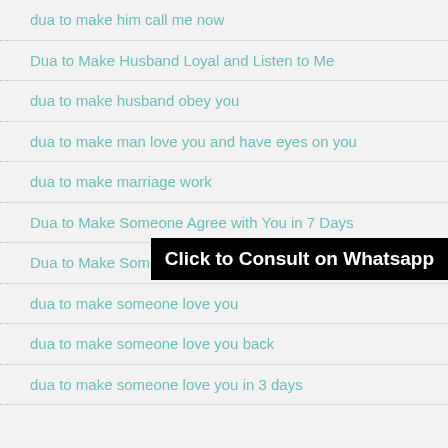dua to make him call me now
Dua to Make Husband Loyal and Listen to Me
dua to make husband obey you
dua to make man love you and have eyes on you
dua to make marriage work
Dua to Make Someone Agree with You in 7 Days
Dua to Make Someone Fall in Love With You
dua to make someone love you
dua to make someone love you back
dua to make someone love you in 3 days
Click to Consult on Whatsapp